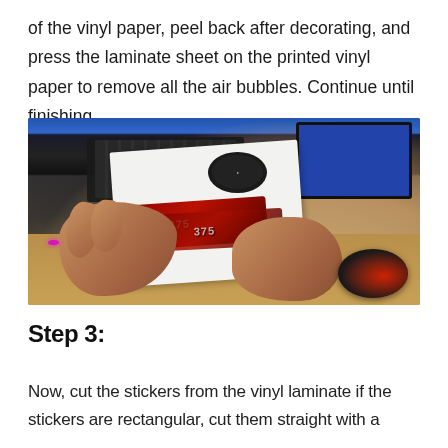of the vinyl paper, peel back after decorating, and press the laminate sheet on the printed vinyl paper to remove all the air bubbles. Continue until finishing.
[Figure (photo): Photo of hands peeling back a laminate sheet over printed vinyl stickers on a desk, with a computer monitor, keyboard, and mouse visible in the background.]
Step 3:
Now, cut the stickers from the vinyl laminate if the stickers are rectangular, cut them straight with a